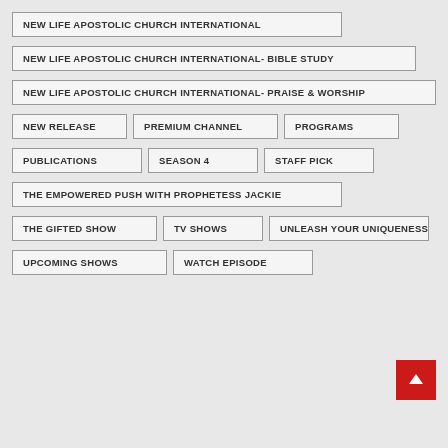NEW LIFE APOSTOLIC CHURCH INTERNATIONAL
NEW LIFE APOSTOLIC CHURCH INTERNATIONAL- BIBLE STUDY
NEW LIFE APOSTOLIC CHURCH INTERNATIONAL- PRAISE & WORSHIP
NEW RELEASE
PREMIUM CHANNEL
PROGRAMS
PUBLICATIONS
SEASON 4
STAFF PICK
THE EMPOWERED PUSH WITH PROPHETESS JACKIE
THE GIFTED SHOW
TV SHOWS
UNLEASH YOUR UNIQUENESS
UPCOMING SHOWS
WATCH EPISODE